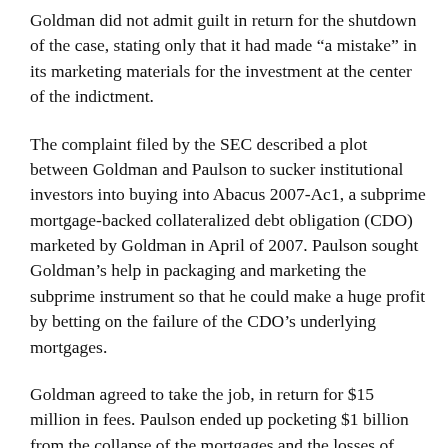Goldman did not admit guilt in return for the shutdown of the case, stating only that it had made “a mistake” in its marketing materials for the investment at the center of the indictment.
The complaint filed by the SEC described a plot between Goldman and Paulson to sucker institutional investors into buying into Abacus 2007-Ac1, a subprime mortgage-backed collateralized debt obligation (CDO) marketed by Goldman in April of 2007. Paulson sought Goldman’s help in packaging and marketing the subprime instrument so that he could make a huge profit by betting on the failure of the CDO’s underlying mortgages.
Goldman agreed to take the job, in return for $15 million in fees. Paulson ended up pocketing $1 billion from the collapse of the mortgages and the losses of those who bought into the CDO.